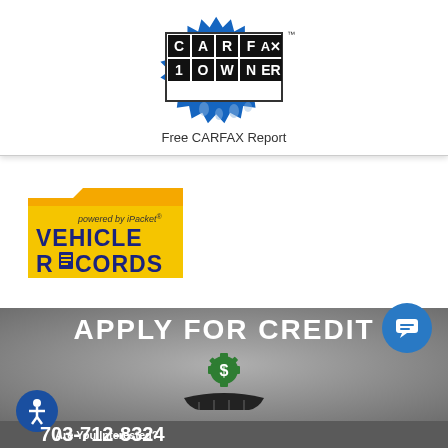[Figure (logo): CARFAX 1 Owner badge logo in blue starburst with black and white lettering]
Free CARFAX Report
[Figure (logo): Vehicle Records logo powered by iPacket - yellow folder style badge with dark blue text]
[Figure (infographic): Apply for Credit banner with grey gradient background, green gear/dollar icon and hand icon]
Are You Interested?
703-712-8324